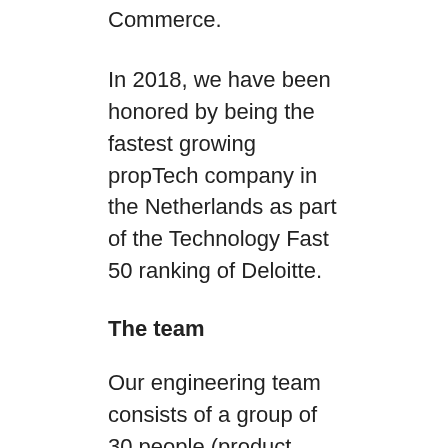Commerce.
In 2018, we have been honored by being the fastest growing propTech company in the Netherlands as part of the Technology Fast 50 ranking of Deloitte.
The team
Our engineering team consists of a group of 30 people (product leads, engineering leads, architects, product owners, front-end engineers, back-end engineers, QA engineers and UX/UI designers), all passionate about our expertise.